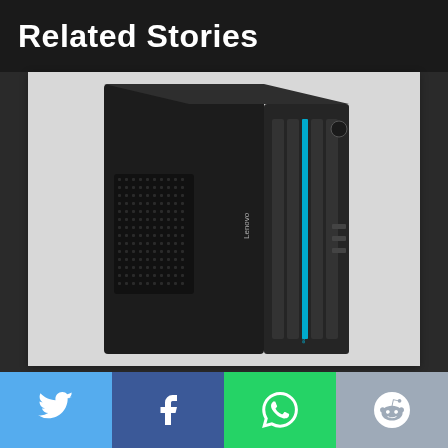Related Stories
[Figure (photo): Lenovo IdeaCentre Gaming desktop PC tower, black with blue accent strips and ventilation grilles on the front panel, viewed from a three-quarter angle]
[Figure (infographic): Social sharing buttons row: Twitter (cyan), Facebook (blue), WhatsApp (green), Reddit (grey-blue)]